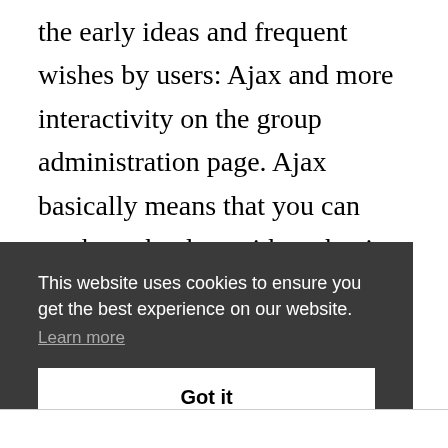the early ideas and frequent wishes by users: Ajax and more interactivity on the group administration page. Ajax basically means that you can work on the data without having to reload the page every time you make a change.
This website uses cookies to ensure you get the best experience on our website.
Learn more
Got it